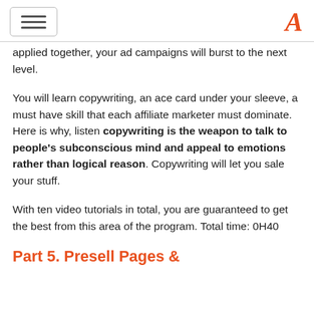[Navigation header with hamburger menu and logo]
applied together, your ad campaigns will burst to the next level.
You will learn copywriting, an ace card under your sleeve, a must have skill that each affiliate marketer must dominate. Here is why, listen copywriting is the weapon to talk to people’s subconscious mind and appeal to emotions rather than logical reason. Copywriting will let you sale your stuff.
With ten video tutorials in total, you are guaranteed to get the best from this area of the program. Total time: 0H40
Part 5. Presell Pages &